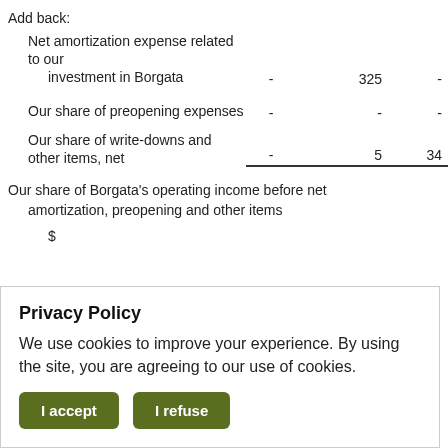Add back:
Net amortization expense related to our investment in Borgata	-	325	-
Our share of preopening expenses	-	-	-
Our share of write-downs and other items, net	-	5	34
Our share of Borgata's operating income before net amortization, preopening and other items	$
Privacy Policy
We use cookies to improve your experience. By using the site, you are agreeing to our use of cookies.
I accept  I refuse